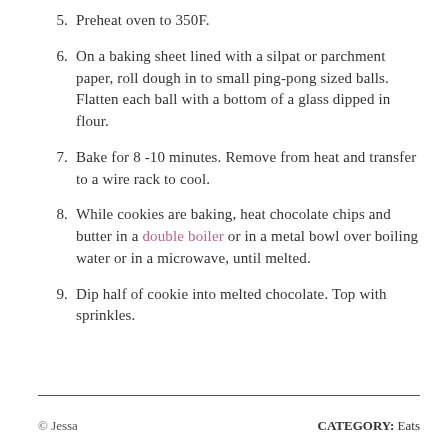5. Preheat oven to 350F.
6. On a baking sheet lined with a silpat or parchment paper, roll dough in to small ping-pong sized balls. Flatten each ball with a bottom of a glass dipped in flour.
7. Bake for 8 -10 minutes. Remove from heat and transfer to a wire rack to cool.
8. While cookies are baking, heat chocolate chips and butter in a double boiler or in a metal bowl over boiling water or in a microwave, until melted.
9. Dip half of cookie into melted chocolate. Top with sprinkles.
© Jessa    CATEGORY: Eats